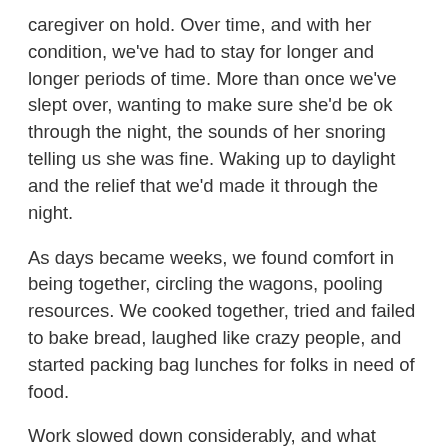caregiver on hold. Over time, and with her condition, we've had to stay for longer and longer periods of time.  More than once we've slept over, wanting to make sure she'd be ok through the night, the sounds of her snoring telling us she was fine.  Waking up to daylight and the relief that we'd made it through the night.
As days became weeks, we found comfort in being together, circling the wagons, pooling resources.  We cooked together, tried and failed to bake bread, laughed like crazy people, and started packing bag lunches for folks in need of food.
Work slowed down considerably, and what work there was I did at the dining room table while Mom colored or read Peter Rabbit.  My sister and I took turns going home early to be with our cats, catch up on laundry, or just have some time to numb out in front of the television.